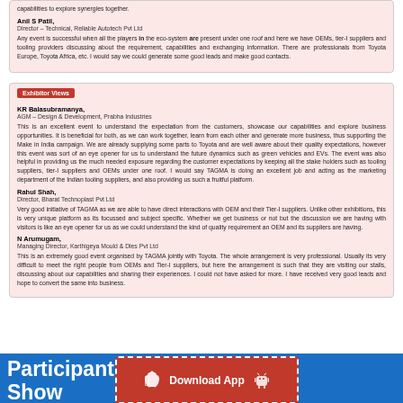capabilities to explore synergies together.
Anil S Patil,
Director – Technical, Reliable Autotech Pvt Ltd
Any event is successful when all the players in the eco-system are present under one roof and here we have OEMs, tier-I suppliers and tooling providers discussing about the requirement, capabilities and exchanging information. There are professionals from Toyota Europe, Toyota Africa, etc. I would say we could generate some good leads and make good contacts.
Exhibitor Views
KR Balasubramanya,
AGM – Design & Development, Prabha Industries
This is an excellent event to understand the expectation from the customers, showcase our capabilities and explore business opportunities. It is beneficial for both, as we can work together, learn from each other and generate more business, thus supporting the Make in India campaign. We are already supplying some parts to Toyota and are well aware about their quality expectations, however this event was sort of an eye opener for us to understand the future dynamics such as green vehicles and EVs. The event was also helpful in providing us the much needed exposure regarding the customer expectations by keeping all the stake holders such as tooling suppliers, tier-I suppliers and OEMs under one roof. I would say TAGMA is doing an excellent job and acting as the marketing department of the Indian tooling suppliers, and also providing us such a fruitful platform.
Rahul Shah,
Director, Bharat Technoplast Pvt Ltd
Very good initiative of TAGMA as we are able to have direct interactions with OEM and their Tier-I suppliers. Unlike other exhibitions, this is very unique platform as its focussed and subject specific. Whether we get business or not but the discussion we are having with visitors is like an eye opener for us as we could understand the kind of quality requirement an OEM and its suppliers are having.
N Arumugam,
Managing Director, Karthigeya Mould & Dies Pvt Ltd
This is an extremely good event organised by TAGMA jointly with Toyota. The whole arrangement is very professional. Usually its very difficult to meet the right people from OEMs and Tier-I suppliers, but here the arrangement is such that they are visiting our stalls, discussing about our capabilities and sharing their experiences. I could not have asked for more. I have received very good leads and hope to convert the same into business.
Participant tech Show
[Figure (infographic): Download App button with Apple and Android icons on red background with dashed border]